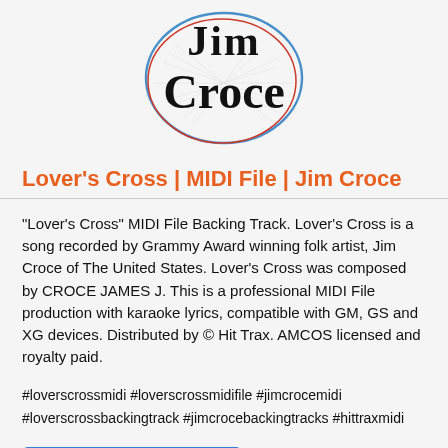[Figure (logo): Jim Croce artist logo — stylized text 'Jim Croce' in large serif font inside overlapping blue and red circle outlines on a light background with decorative line art]
Lover's Cross | MIDI File | Jim Croce
"Lover's Cross" MIDI File Backing Track. Lover's Cross is a song recorded by Grammy Award winning folk artist, Jim Croce of The United States. Lover's Cross was composed by CROCE JAMES J. This is a professional MIDI File production with karaoke lyrics, compatible with GM, GS and XG devices. Distributed by © Hit Trax. AMCOS licensed and royalty paid.
#loverscrossmidi #loverscrossmidifile #jimcrocemidi #loverscrossbackingtrack #jimcrocebackingtracks #hittraxmidi